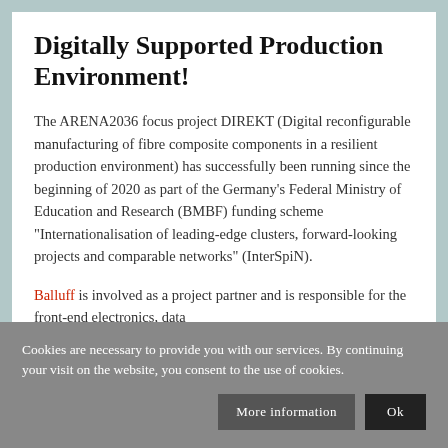Digitally Supported Production Environment!
The ARENA2036 focus project DIREKT (Digital reconfigurable manufacturing of fibre composite components in a resilient production environment) has successfully been running since the beginning of 2020 as part of the Germany's Federal Ministry of Education and Research (BMBF) funding scheme "Internationalisation of leading-edge clusters, forward-looking projects and comparable networks" (InterSpiN).
Balluff is involved as a project partner and is responsible for the front-end electronics, data
Cookies are necessary to provide you with our services. By continuing your visit on the website, you consent to the use of cookies.